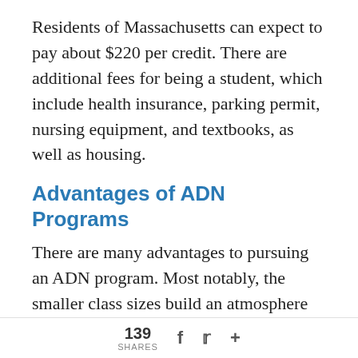Residents of Massachusetts can expect to pay about $220 per credit. There are additional fees for being a student, which include health insurance, parking permit, nursing equipment, and textbooks, as well as housing.
Advantages of ADN Programs
There are many advantages to pursuing an ADN program. Most notably, the smaller class sizes build an atmosphere of community learning. As well, due to the number of community colleges found throughout the state, the ADN program is accessible to most, if not all students who want a post-secondary degree. Finally, the amount of hands-on learning means that students graduate prepared to
139 SHARES